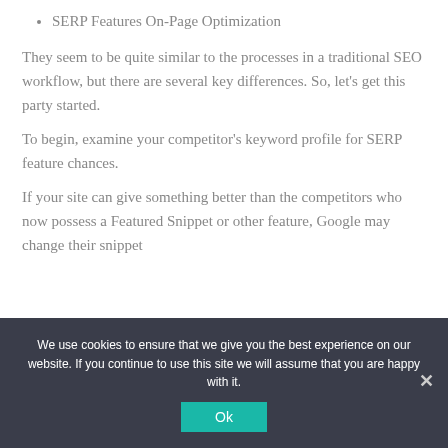SERP Features On-Page Optimization
They seem to be quite similar to the processes in a traditional SEO workflow, but there are several key differences. So, let's get this party started.
To begin, examine your competitor's keyword profile for SERP feature chances.
If your site can give something better than the competitors who now possess a Featured Snippet or other feature, Google may change their snippet
We use cookies to ensure that we give you the best experience on our website. If you continue to use this site we will assume that you are happy with it.